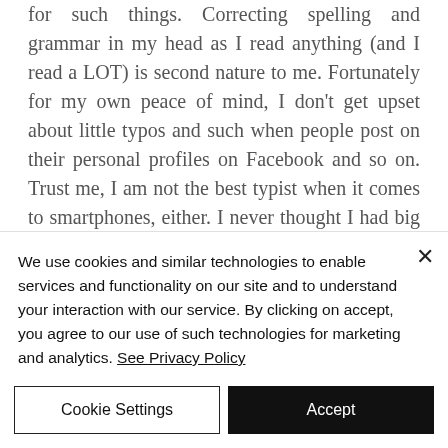for such things. Correcting spelling and grammar in my head as I read anything (and I read a LOT) is second nature to me. Fortunately for my own peace of mind, I don't get upset about little typos and such when people post on their personal profiles on Facebook and so on. Trust me, I am not the best typist when it comes to smartphones, either. I never thought I had big fingers until those were invented. Haha!
We use cookies and similar technologies to enable services and functionality on our site and to understand your interaction with our service. By clicking on accept, you agree to our use of such technologies for marketing and analytics. See Privacy Policy